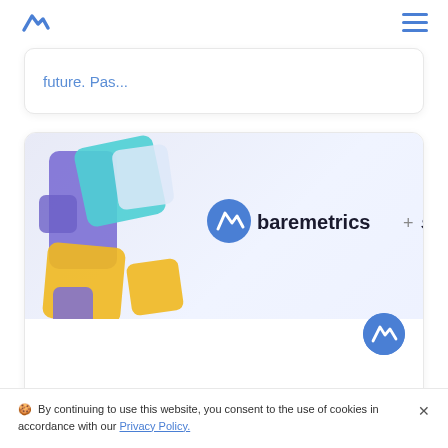Baremetrics logo and navigation
future. Pas...
[Figure (screenshot): Baremetrics + Stripe Apps promotional banner image with 3D geometric shapes in purple, blue, cyan, and yellow, with logos and text reading 'baremetrics + stripe APPS']
Get Baremetrics Insights Inside Stripe W
By continuing to use this website, you consent to the use of cookies in accordance with our Privacy Policy.